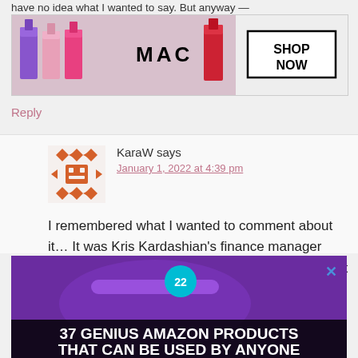have no idea what I wanted to say. But anyway —
[Figure (photo): MAC Cosmetics advertisement banner showing colorful lipsticks (purple, pink, coral, red) with MAC logo and SHOP NOW button]
Reply
KaraW says
January 1, 2022 at 4:39 pm
I remembered what I wanted to comment about it… It was Kris Kardashian's finance manager who was brutally murdered and stabbed. How is it that Kris Kardashian has had TWO people in her life brutally murdered like that? Not that it
[Figure (photo): Advertisement showing purple headphones with '22' badge overlay and text '37 GENIUS AMAZON PRODUCTS THAT CAN BE USED BY ANYONE' with CLOSE button]